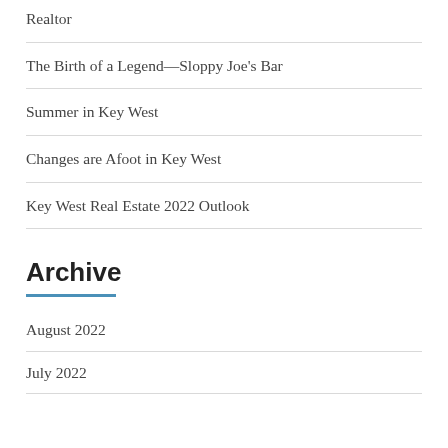Realtor
The Birth of a Legend—Sloppy Joe's Bar
Summer in Key West
Changes are Afoot in Key West
Key West Real Estate 2022 Outlook
Archive
August 2022
July 2022